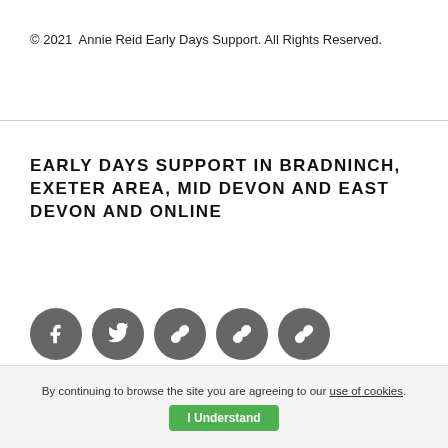© 2021  Annie Reid Early Days Support. All Rights Reserved.
EARLY DAYS SUPPORT IN BRADNINCH, EXETER AREA, MID DEVON AND EAST DEVON AND ONLINE
[Figure (illustration): Five circular social media icon buttons (Facebook, Twitter, and three link/share icons) in dark grey circles at the bottom of the page]
By continuing to browse the site you are agreeing to our use of cookies.
I Understand